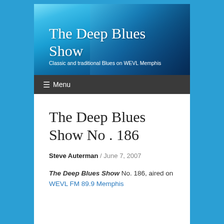[Figure (photo): Blue-tinted header image with guitar/microphone closeup, showing 'The Deep Blues Show' title and tagline 'Classic and traditional Blues on WEVL Memphis']
The Deep Blues Show
Classic and traditional Blues on WEVL Memphis
≡ Menu
The Deep Blues Show No . 186
Steve Auterman / June 7, 2007
The Deep Blues Show No. 186, aired on WEVL FM 89.9 Memphis